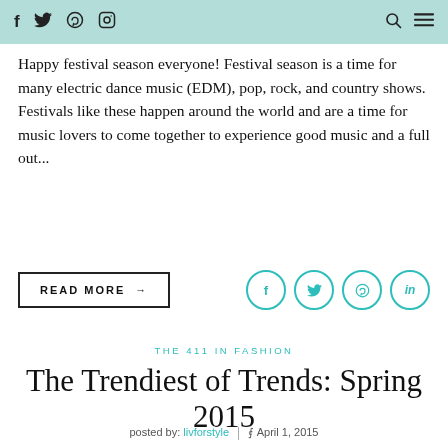f     twitter     pinterest     instagram        search  menu
Happy festival season everyone! Festival season is a time for many electric dance music (EDM), pop, rock, and country shows. Festivals like these happen around the world and are a time for music lovers to come together to experience good music and a full out...
READ MORE →
THE 411 IN FASHION
The Trendiest of Trends: Spring 2015
posted by: livforstyle  |  ⧐ April 1, 2015